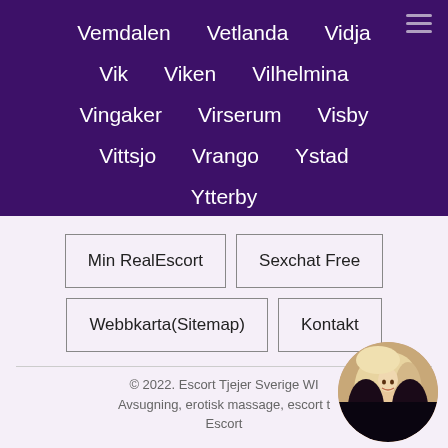Vemdalen  Vetlanda  Vidja  Vik
Viken  Vilhelmina  Vingaker
Virserum  Visby  Vittsjo  Vrango
Ystad  Ytterby
Min RealEscort
Sexchat Free
Webbkarta(Sitemap)
Kontakt
© 2022. Escort Tjejer Sverige WI... Avsugning, erotisk massage, escort t... Escort
[Figure (photo): Circular avatar photo of a blonde woman]